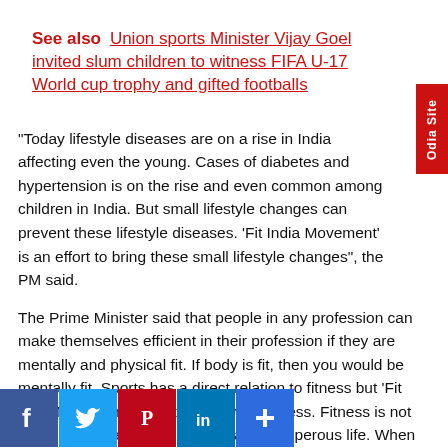See also  Union sports Minister Vijay Goel invited slum children to witness FIFA U-17 World cup trophy and gifted footballs
“Today lifestyle diseases are on a rise in India affecting even the young. Cases of diabetes and hypertension is on the rise and even common among children in India. But small lifestyle changes can prevent these lifestyle diseases. ‘Fit India Movement’ is an effort to bring these small lifestyle changes”, the PM said.
The Prime Minister said that people in any profession can make themselves efficient in their profession if they are mentally and physical fit. If body is fit, then you would be mentally fit. Sports has a direct relation to fitness but ‘Fit India Movement’ aims to go beyond fitness. Fitness is not just a [route/aim] ... to a healthy and prosperous life. When we prepare our bodies for battle, we make the country